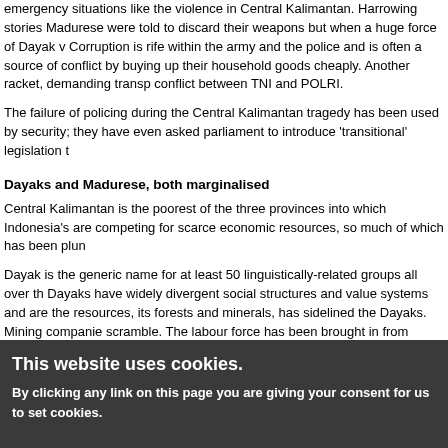emergency situations like the violence in Central Kalimantan. Harrowing stories Madurese were told to discard their weapons but when a huge force of Dayak v Corruption is rife within the army and the police and is often a source of conflict by buying up their household goods cheaply. Another racket, demanding transp conflict between TNI and POLRI.
The failure of policing during the Central Kalimantan tragedy has been used by security; they have even asked parliament to introduce 'transitional' legislation t
Dayaks and Madurese, both marginalised
Central Kalimantan is the poorest of the three provinces into which Indonesia's are competing for scarce economic resources, so much of which has been plun
Dayak is the generic name for at least 50 linguistically-related groups all over th Dayaks have widely divergent social structures and value systems and are the resources, its forests and minerals, has sidelined the Dayaks. Mining companie scramble. The labour force has been brought in from elsewhere, often Madures all in the hands of non-Dayaks. The Dayaks are not able to make a living from a all the valuable timber, especially once plantation companies move in to clear u prefer to use migrant labour rather than employ Dayaks.
The Madurese migrants originate from the small island of Madura off the north- and many have gone to Kalimantan. This has been going on since the sixties so never lived, or perhaps even visited, their island of origin. Strictly speaking, the enterprises are in the hands of Chinese or Malay traders. Some Madurese have
This website uses cookies.
By clicking any link on this page you are giving your consent for us to set cookies.